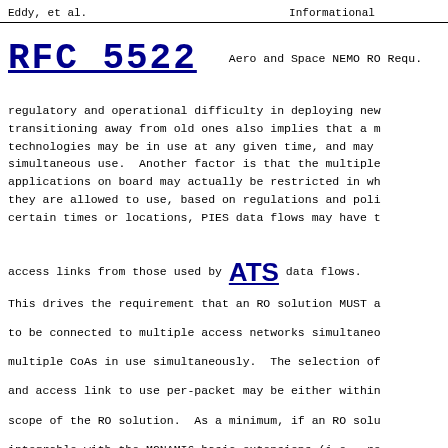Eddy, et al.                  Informational
RFC 5522         Aero and Space NEMO RO Requ.
regulatory and operational difficulty in deploying new transitioning away from old ones also implies that a m technologies may be in use at any given time, and may simultaneous use.  Another factor is that the multiple applications on board may actually be restricted in wh they are allowed to use, based on regulations and poli certain times or locations, PIES data flows may have t

access links from those used by ATS data flows.
This drives the requirement that an RO solution MUST a to be connected to multiple access networks simultaneo multiple CoAs in use simultaneously.  The selection of and access link to use per-packet may be either within scope of the RO solution.  As a minimum, if an RO solu integrable with the MONAMI6 basic extensions (i.e., re multiple CoAs and flow bindings) and does not preclude then this requirement can be considered to be satisfie